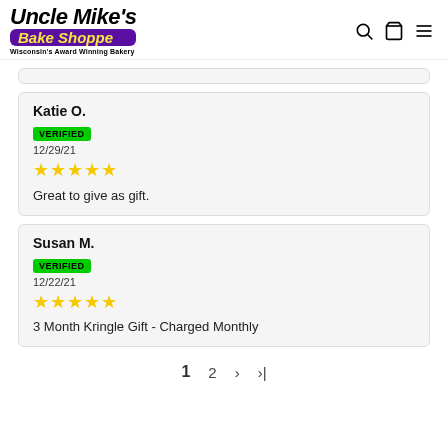Uncle Mike's Bake Shoppe — Wisconsin's Award Winning Bakery
Katie O.
VERIFIED
12/29/21
★★★★★
Great to give as gift.
Susan M.
VERIFIED
12/22/21
★★★★★
3 Month Kringle Gift - Charged Monthly
1  2  >  >|